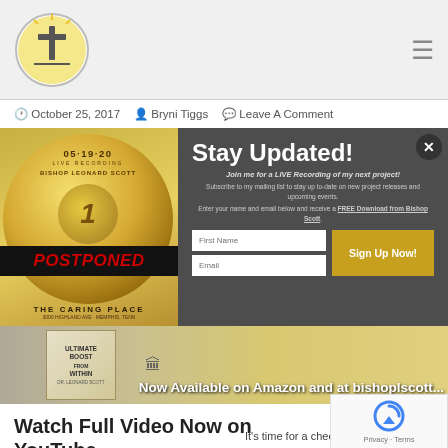[Figure (logo): Church logo circle with cross and sun]
October 25, 2017  Bryni Tiggs  Leave A Comment
[Figure (infographic): Modal popup with left panel showing Bishop Leonard Scott POSTPONED coin/album art for The Caring Place live recording 05-19-20, and right panel with Stay Updated signup form]
[Figure (photo): Banner image showing book 'Ultimate Boost from Within by Dr. Leonard Scott' with text 'Now Available on Amazon and at bishoplscott...']
Watch Full Video Now on YouTube
It's time for a check-in! We are...